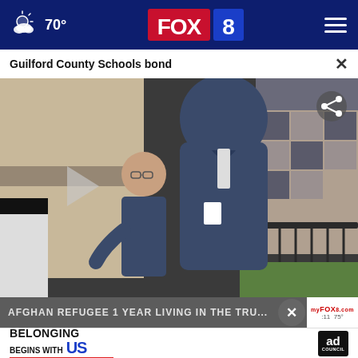70° FOX 8
Guilford County Schools bond
[Figure (photo): Two men in suits outside a school building; one tall man in a blue blazer with back to camera, another man with glasses in background. Share icon overlay visible top right, play button overlay center left.]
AFGHAN REFUGEE 1 YEAR LIVING IN THE TRU...
[Figure (screenshot): Ad banner: BELONGING BEGINS WITH US — Ad Council logo]
myfox8.com  :11  75°